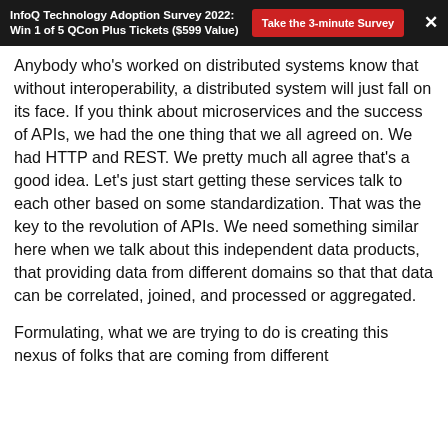InfoQ Technology Adoption Survey 2022: Win 1 of 5 QCon Plus Tickets ($599 Value)
Anybody who's worked on distributed systems know that without interoperability, a distributed system will just fall on its face. If you think about microservices and the success of APIs, we had the one thing that we all agreed on. We had HTTP and REST. We pretty much all agree that's a good idea. Let's just start getting these services talk to each other based on some standardization. That was the key to the revolution of APIs. We need something similar here when we talk about this independent data products, that providing data from different domains so that that data can be correlated, joined, and processed or aggregated.
Formulating, what we are trying to do is creating this nexus of folks that are coming from different